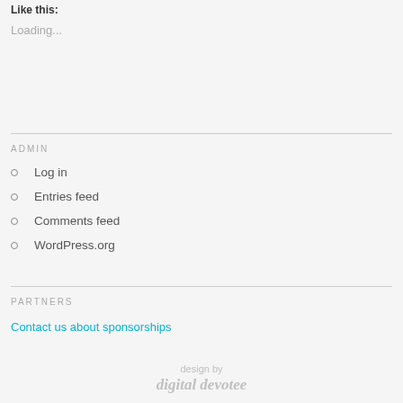Like this:
Loading...
ADMIN
Log in
Entries feed
Comments feed
WordPress.org
PARTNERS
Contact us about sponsorships
design by digital devotee